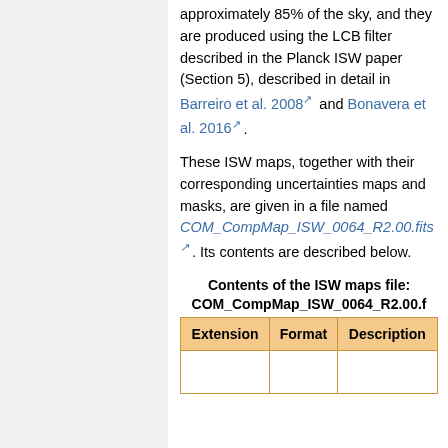approximately 85% of the sky, and they are produced using the LCB filter described in the Planck ISW paper (Section 5), described in detail in Barreiro et al. 2008 and Bonavera et al. 2016.
These ISW maps, together with their corresponding uncertainties maps and masks, are given in a file named COM_CompMap_ISW_0064_R2.00.fits. Its contents are described below.
Contents of the ISW maps file: COM_CompMap_ISW_0064_R2.00.fits
| Extension | Format | Description |
| --- | --- | --- |
|  |  |  |